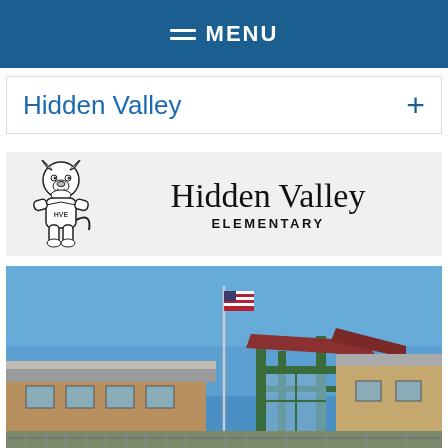MENU
Hidden Valley
[Figure (logo): Hidden Valley Elementary school logo with husky mascot illustration and school name text]
[Figure (photo): Exterior photo of Hidden Valley Elementary school building showing a flagpole with American flag, modern school entrance with green structural columns and brick walls under a clear blue sky]